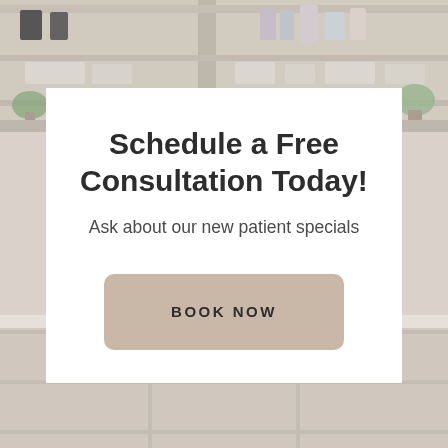[Figure (photo): Blurred background photo of a medical/beauty clinic reception area with white shelving units holding skincare products and small plants, in warm beige and white tones.]
Schedule a Free Consultation Today!
Ask about our new patient specials
BOOK NOW